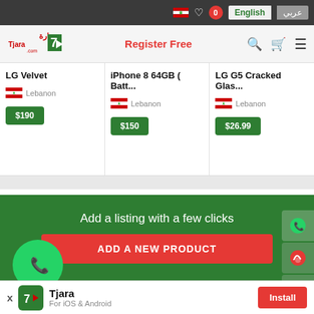English / عربي — Lebanon flag, heart, 0 badge
[Figure (screenshot): Tjara.com logo with Arabic text and green arrow icon]
Register Free
LG Velvet
Lebanon
$190
iPhone 8 64GB ( Batt...
Lebanon
$150
LG G5 Cracked Glas...
Lebanon
$26.99
Add a listing with a few clicks
ADD A NEW PRODUCT
Download Tjara For IOS
Download Tjara For Android
Tjara
For iOS & Android
Install